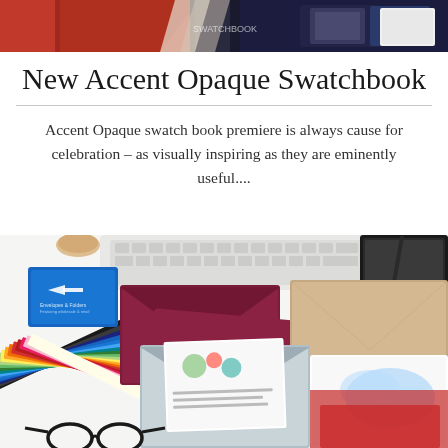[Figure (photo): Top banner image showing promotional materials with red, dark blue, and decorative elements]
New Accent Opaque Swatchbook
Accent Opaque swatch book premiere is always cause for celebration – as visually inspiring as they are eminently useful....
[Figure (photo): Bottom photo showing colorful paper swatches fanned out, envelopes addressed in white script, a blue Envelopes.com brochure, a keyboard, glasses, and stationery items on a white desk surface]